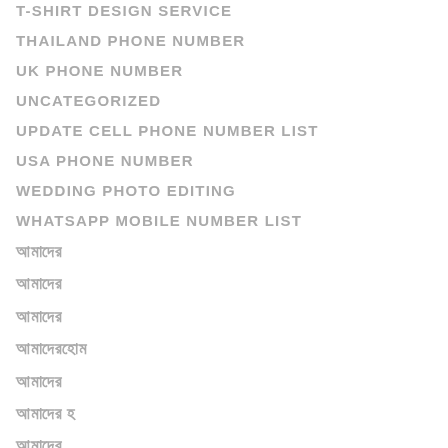T-SHIRT DESIGN SERVICE
THAILAND PHONE NUMBER
UK PHONE NUMBER
UNCATEGORIZED
UPDATE CELL PHONE NUMBER LIST
USA PHONE NUMBER
WEDDING PHOTO EDITING
WHATSAPP MOBILE NUMBER LIST
আমাদের
আমাদের
আমাদের
আমাদের হোম
আমাদের
আমাদের হ
আমাদের